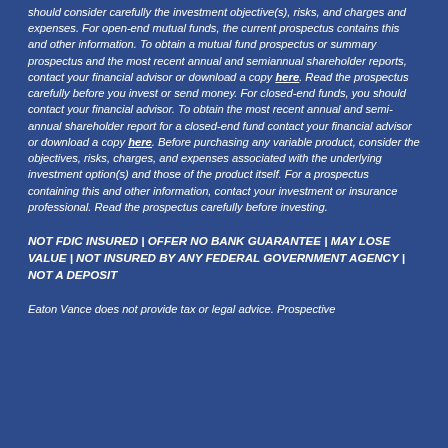should consider carefully the investment objective(s), risks, and charges and expenses. For open-end mutual funds, the current prospectus contains this and other information. To obtain a mutual fund prospectus or summary prospectus and the most recent annual and semiannual shareholder reports, contact your financial advisor or download a copy here. Read the prospectus carefully before you invest or send money. For closed-end funds, you should contact your financial advisor. To obtain the most recent annual and semi-annual shareholder report for a closed-end fund contact your financial advisor or download a copy here. Before purchasing any variable product, consider the objectives, risks, charges, and expenses associated with the underlying investment option(s) and those of the product itself. For a prospectus containing this and other information, contact your investment or insurance professional. Read the prospectus carefully before investing.
NOT FDIC INSURED | OFFER NO BANK GUARANTEE | MAY LOSE VALUE | NOT INSURED BY ANY FEDERAL GOVERNMENT AGENCY | NOT A DEPOSIT
Eaton Vance does not provide tax or legal advice. Prospective